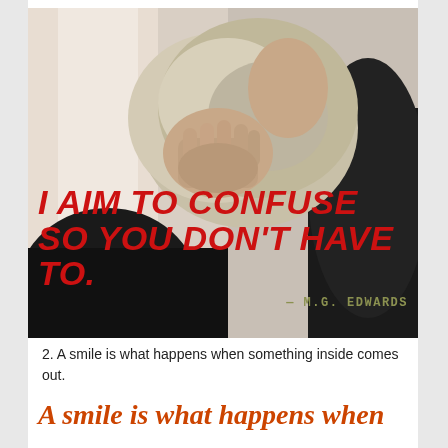[Figure (photo): An older person with grey/blonde hair holding their head in their hands in a distressed pose, wearing dark clothing. Photo has text overlay with quote: 'I AIM TO CONFUSE SO YOU DON'T HAVE TO.' attributed to — M.G. EDWARDS]
2. A smile is what happens when something inside comes out.
A smile is what happens when